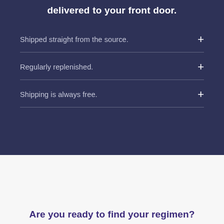delivered to your front door.
Shipped straight from the source.
Regularly replenished.
Shipping is always free.
Are you ready to find your regimen?